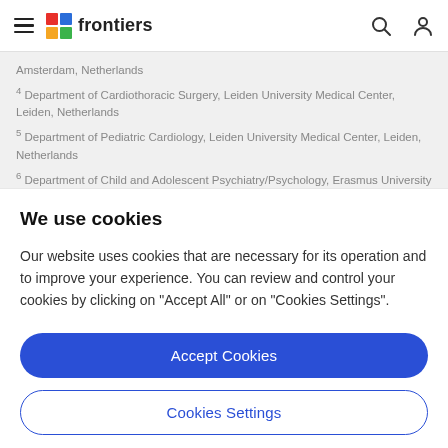frontiers
Amsterdam, Netherlands
4 Department of Cardiothoracic Surgery, Leiden University Medical Center, Leiden, Netherlands
5 Department of Pediatric Cardiology, Leiden University Medical Center, Leiden, Netherlands
6 Department of Child and Adolescent Psychiatry/Psychology, Erasmus University Medical Center – Sophia Children's Hospital, Rotterdam,
We use cookies
Our website uses cookies that are necessary for its operation and to improve your experience. You can review and control your cookies by clicking on "Accept All" or on "Cookies Settings".
Accept Cookies
Cookies Settings